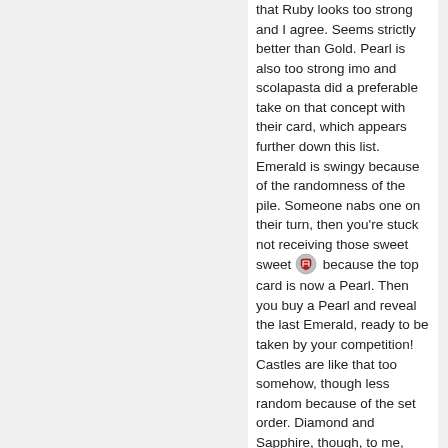that Ruby looks too strong and I agree. Seems strictly better than Gold. Pearl is also too strong imo and scolapasta did a preferable take on that concept with their card, which appears further down this list. Emerald is swingy because of the randomness of the pile. Someone nabs one on their turn, then you're stuck not receiving those sweet sweet [icon] because the top card is now a Pearl. Then you buy a Pearl and reveal the last Emerald, ready to be taken by your competition! Castles are like that too somehow, though less random because of the set order. Diamond and Sapphire, though, to me, seems a-okay! The whole randomness of the pile makes this a little luck-based for